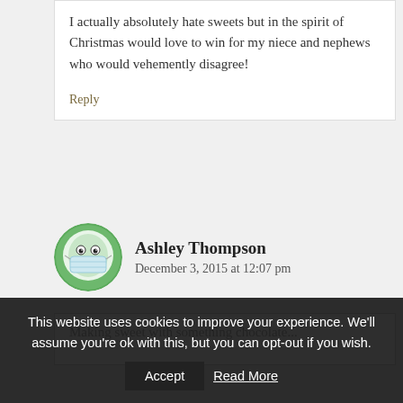I actually absolutely hate sweets but in the spirit of Christmas would love to win for my niece and nephews who would vehemently disagree!
Reply
Ashley Thompson
December 3, 2015 at 12:07 pm
[Figure (illustration): Circular avatar icon showing a cartoon face wearing a surgical/face mask, with a green border, representing the user Ashley Thompson]
This website uses cookies to improve your experience. We'll assume you're ok with this, but you can opt-out if you wish.
Accept
Read More